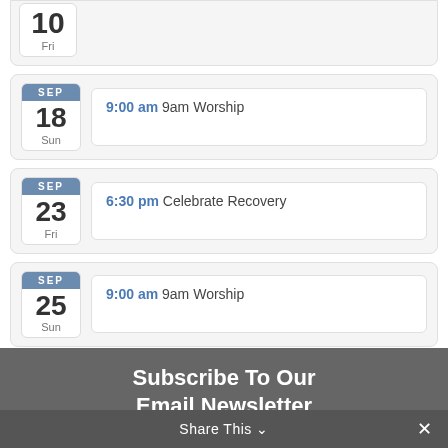SEP 18 Sun — 9:00 am 9am Worship
SEP 23 Fri — 6:30 pm Celebrate Recovery
SEP 25 Sun — 9:00 am 9am Worship
View Calendar →
Subscribe To Our Email Newsletter
Share This ∨